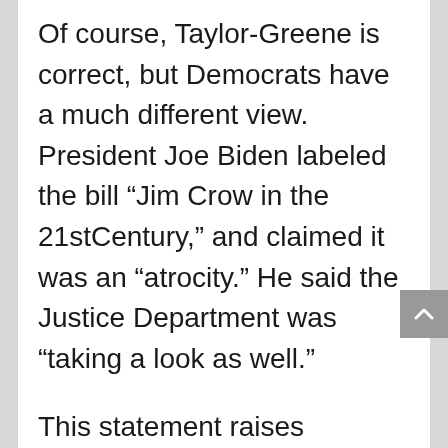Of course, Taylor-Greene is correct, but Democrats have a much different view. President Joe Biden labeled the bill “Jim Crow in the 21stCentury,” and claimed it was an “atrocity.” He said the Justice Department was “taking a look as well.”
This statement raises disturbing questions about the independence of the Justice Department and whether Biden was directing them to act against the new Georgia law. It remains to be seen what the Justice Department will do as their only public comment was that they were “aware” of the new Georgia law.